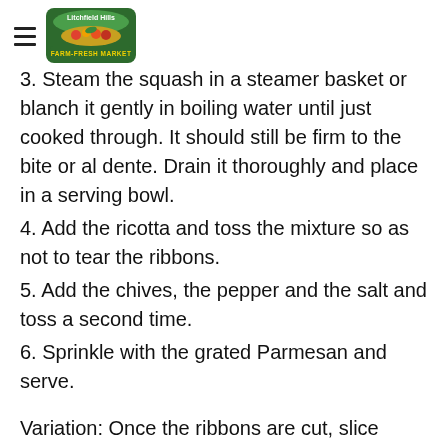Litchfield Hills Farm-Fresh Market
3. Steam the squash in a steamer basket or blanch it gently in boiling water until just cooked through. It should still be firm to the bite or al dente. Drain it thoroughly and place in a serving bowl.
4. Add the ricotta and toss the mixture so as not to tear the ribbons.
5. Add the chives, the pepper and the salt and toss a second time.
6. Sprinkle with the grated Parmesan and serve.
Variation: Once the ribbons are cut, slice them into narrower strip the width of fettuccini.
* Don't cheat yourself with prepackaged grated Parmesan or ground pepper. Freshness counts here as